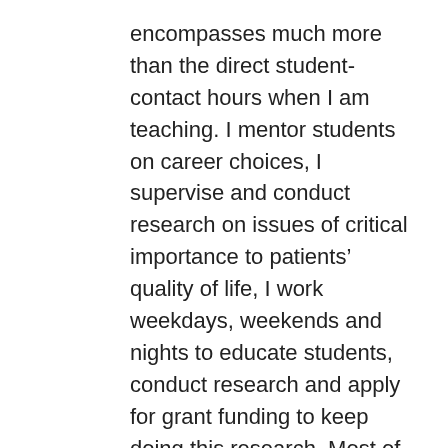encompasses much more than the direct student-contact hours when I am teaching. I mentor students on career choices, I supervise and conduct research on issues of critical importance to patients' quality of life, I work weekdays, weekends and nights to educate students, conduct research and apply for grant funding to keep doing this research. Most of us, myself included, work 12 months on a 9 month base salary so we can get the work done and make discoveries that change our understanding of the way the world works. The rhetoric that we are not working hard enough or that we are “living off the fat of the land” sitting in an ivory tower is inaccurate and insulting.